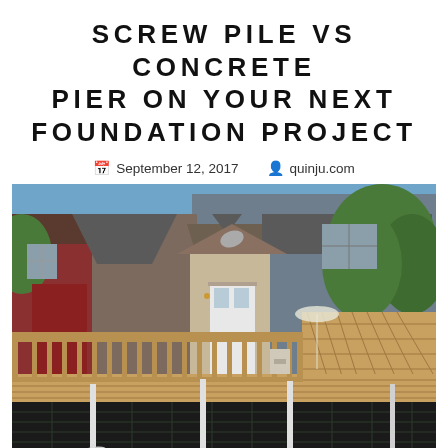SCREW PILE VS CONCRETE PIER ON YOUR NEXT FOUNDATION PROJECT
September 12, 2017   quinju.com
[Figure (photo): Photograph of a residential deck attached to a house, showing wooden railings and lattice privacy screens, with screw pile foundations visible beneath the deck in the foreground on a dark composite background.]